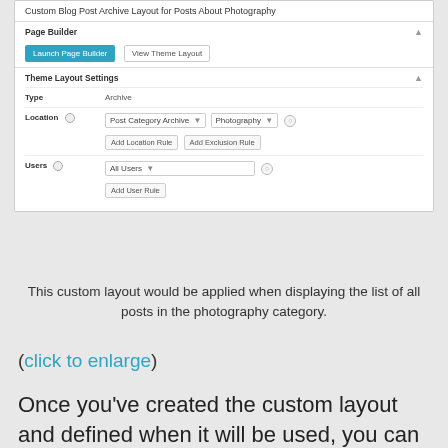[Figure (screenshot): WordPress admin interface showing a custom blog post archive layout settings. Title reads 'Custom Blog Post Archive Layout for Posts About Photography'. Contains Page Builder section with 'Launch Page Builder' and 'View Theme Layout' buttons. Theme Layout Settings section shows Type: Archive, Location: Post Category Archive / Photography with Add Location Rule and Add Exclusion Rule buttons, and Users: All Users with Add User Rule button.]
This custom layout would be applied when displaying the list of all posts in the photography category.
(click to enlarge)
Once you've created the custom layout and defined when it will be used, you can start designing it in the builder.